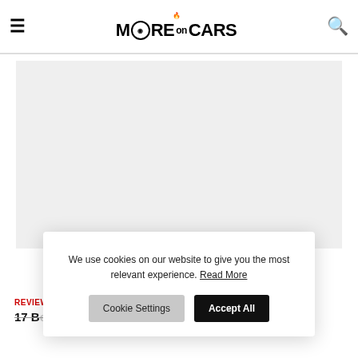MORE on CARS
[Figure (other): Advertisement or placeholder image area, light gray background]
We use cookies on our website to give you the most relevant experience. Read More
Cookie Settings | Accept All
REVIEWS
17 Best Luxury All Electric Cars in the World in 2022